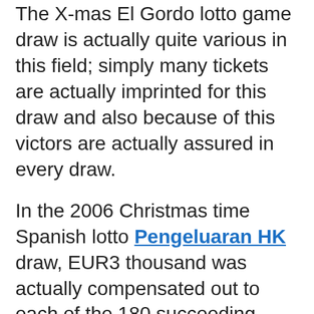The X-mas El Gordo lotto game draw is actually quite various in this field; simply many tickets are actually imprinted for this draw and also because of this victors are actually assured in every draw.
In the 2006 Christmas time Spanish lotto Pengeluaran HK draw, EUR3 thousand was actually compensated out to each of the 180 succeeding billetes. In the 2005 draw, the succeeding amount was actually offered in the community of Vic in Catalonia (populace 37,825), whose occupants discussed roughly EUR500 thousand.
When participating in lottery games like the UK lottery, brand new tickets are actually produced every single time an extra pound is